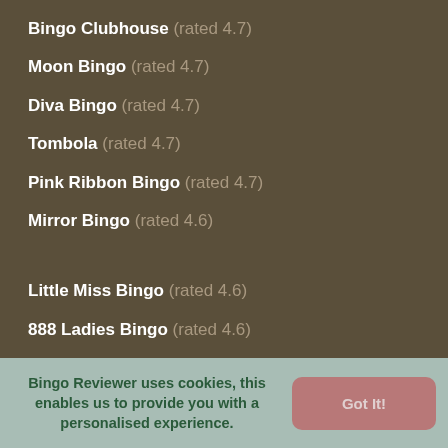Bingo Clubhouse (rated 4.7)
Moon Bingo (rated 4.7)
Diva Bingo (rated 4.7)
Tombola (rated 4.7)
Pink Ribbon Bingo (rated 4.7)
Mirror Bingo (rated 4.6)
Little Miss Bingo (rated 4.6)
888 Ladies Bingo (rated 4.6)
Bingo Cams (rated 4.6)
Scratch Mania (rated 4.6)
Fancy Bingo (rated 4.5)
Sing Bingo (rated 4.5)
Bingo Reviewer uses cookies, this enables us to provide you with a personalised experience.